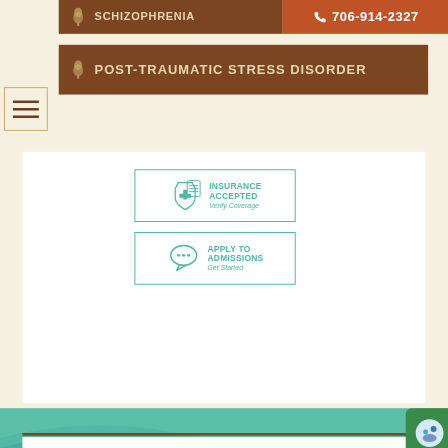SCHIZOPHRENIA
706-914-2327
POST-TRAUMATIC STRESS DISORDER
[Figure (infographic): Insurance Accepted - Verify Coverage button with shield/clipboard icon, teal border]
[Figure (infographic): Apply to Admissions - Get Started button with speech bubble icon, teal border]
Subscribe to our